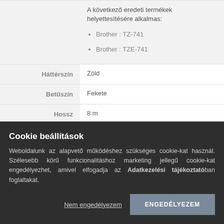A következő eredeti termékek helyettesítésére alkalmas:
Brother : TZ-741
Brother : TZE-741
| Háttérszín | Zöld |
| Betűszín | Fekete |
| Hossz | 8 m |
Cookie beállítások
Weboldalunk az alapvető működéshez szükséges cookie-kat használ. Szélesebb körű funkcionalitáshoz marketing jellegű cookie-kat engedélyezhet, amivel elfogadja az Adatkezelési tájékoztatóban foglaltakat.
Nem engedélyezem
ENGEDÉLYEZEM